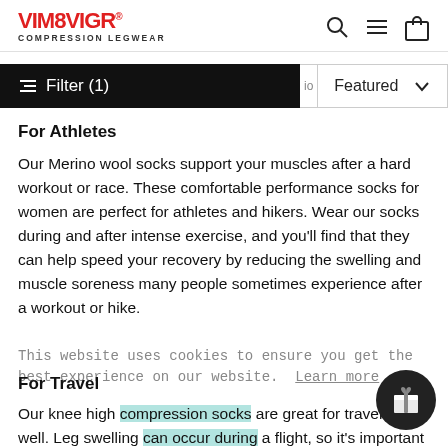VIM&VIGR COMPRESSION LEGWEAR
Filter (1)   Featured
For Athletes
Our Merino wool socks support your muscles after a hard workout or race. These comfortable performance socks for women are perfect for athletes and hikers. Wear our socks during and after intense exercise, and you'll find that they can help speed your recovery by reducing the swelling and muscle soreness many people sometimes experience after a workout or hike.
This website uses cookies to ensure you get the best experience on our website. Learn more
For Travel
Our knee high compression socks are great for travel as well. Leg swelling can occur during a flight, so it's important to wear a graduated compression sock on the plane. If your